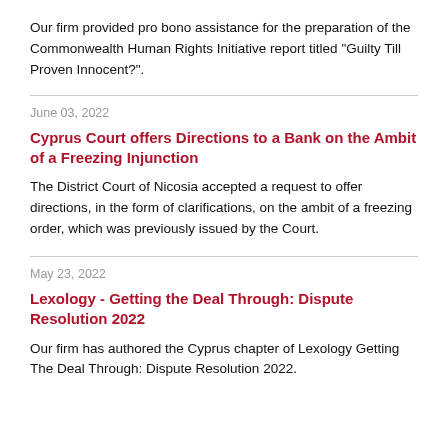Our firm provided pro bono assistance for the preparation of the Commonwealth Human Rights Initiative report titled "Guilty Till Proven Innocent?".
June 03, 2022
Cyprus Court offers Directions to a Bank on the Ambit of a Freezing Injunction
The District Court of Nicosia accepted a request to offer directions, in the form of clarifications, on the ambit of a freezing order, which was previously issued by the Court.
May 23, 2022
Lexology - Getting the Deal Through: Dispute Resolution 2022
Our firm has authored the Cyprus chapter of Lexology Getting The Deal Through: Dispute Resolution 2022.